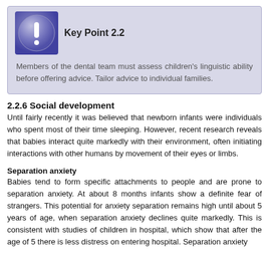[Figure (illustration): Purple circular icon with white exclamation mark, representing a key point callout box]
Key Point 2.2
Members of the dental team must assess children's linguistic ability before offering advice. Tailor advice to individual families.
2.2.6 Social development
Until fairly recently it was believed that newborn infants were individuals who spent most of their time sleeping. However, recent research reveals that babies interact quite markedly with their environment, often initiating interactions with other humans by movement of their eyes or limbs.
Separation anxiety
Babies tend to form specific attachments to people and are prone to separation anxiety. At about 8 months infants show a definite fear of strangers. This potential for anxiety separation remains high until about 5 years of age, when separation anxiety declines quite markedly. This is consistent with studies of children in hospital, which show that after the age of 5 there is less distress on entering hospital. Separation anxiety